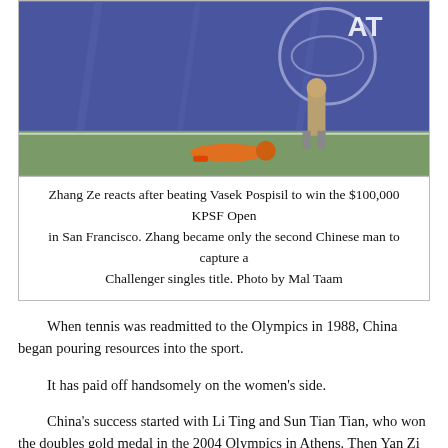[Figure (photo): Zhang Ze lying on the tennis court after winning, with a person standing behind him, in front of a blue AT&T banner backdrop.]
Zhang Ze reacts after beating Vasek Pospisil to win the $100,000 KPSF Open in San Francisco. Zhang became only the second Chinese man to capture a Challenger singles title. Photo by Mal Taam
When tennis was readmitted to the Olympics in 1988, China began pouring resources into the sport. It has paid off handsomely on the women's side. China's success started with Li Ting and Sun Tian Tian, who won the doubles gold medal in the 2004 Olympics in Athens. Then Yan Zi and Zheng Jie captured the Australian Open and Wimbledon doubles titles in 2006. But Li Na made the biggest splash by winning the French Open singles title in 2011 and adding the 2014 Australian Open crown. Irreverence added to her appeal, and the tennis world mourned when she retired only nine months after the Melbourne title at age 32.